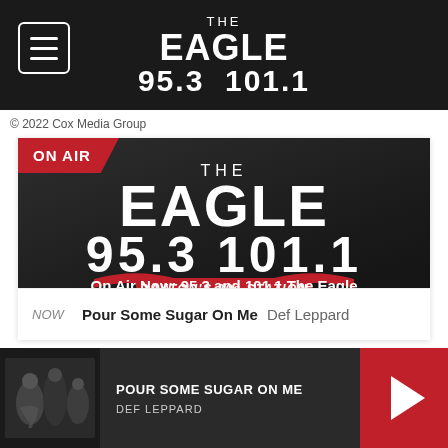THE EAGLE 95.3 101.1
© 2022 Cox Media Group
[Figure (screenshot): The Eagle 95.3 / 101.1 radio station ON AIR card showing station logo, 'DAYTON'S 80s STATION' banner, crowd silhouette, and 'On Air Now: 95.3 and 101.1 The Eagle' text]
NOW  Pour Some Sugar On Me  Def Leppard
[Figure (screenshot): Bottom player bar showing album art (black and white band photo), POUR SOME SUGAR ON ME / DEF LEPPARD text, and red play button]